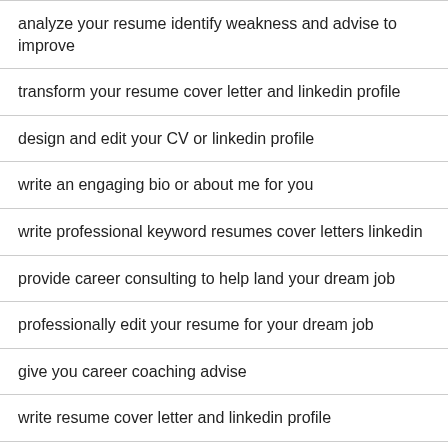analyze your resume identify weakness and advise to improve
transform your resume cover letter and linkedin profile
design and edit your CV or linkedin profile
write an engaging bio or about me for you
write professional keyword resumes cover letters linkedin
provide career consulting to help land your dream job
professionally edit your resume for your dream job
give you career coaching advise
write resume cover letter and linkedin profile
write or edit your resume or CV to a professional